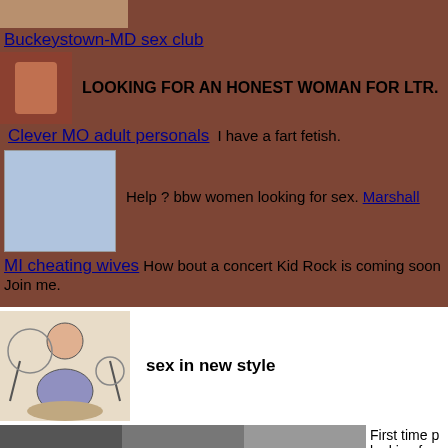[Figure (photo): Small photo top left, brown/flesh tones]
Buckeystown-MD sex club
[Figure (photo): Small torso photo]
LOOKING FOR AN HONEST WOMAN FOR LTR.
Clever MO adult personals I have a fart fetish.
[Figure (photo): Blue/grey placeholder image]
Help ? bbw women looking for sex. Marshall
MI cheating wives How bout a concert Kid Rock is coming soon Join me.
[Figure (illustration): Anime-style sitting figure illustration]
sex in new style
[Figure (photo): Three photos of women]
First time p looking for Oklahoma Oklahoma